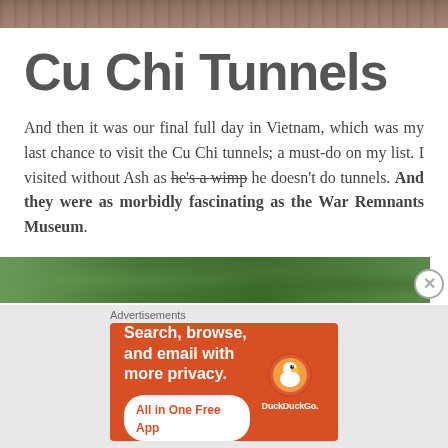[Figure (photo): Top portion of an image, appears to be foliage or outdoor scene in muted brown/natural tones]
Cu Chi Tunnels
And then it was our final full day in Vietnam, which was my last chance to visit the Cu Chi tunnels; a must-do on my list. I visited without Ash as he's a wimp he doesn't do tunnels. And they were as morbidly fascinating as the War Remnants Museum.
[Figure (photo): Bottom partial image showing green jungle/forest foliage]
[Figure (screenshot): DuckDuckGo advertisement banner on orange background: 'Search, browse, and email with more privacy. All in One Free App' with DuckDuckGo logo and phone graphic]
Advertisements